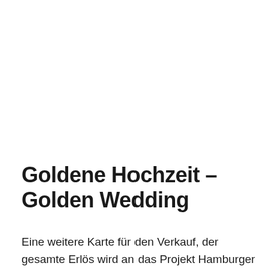Goldene Hochzeit – Golden Wedding
Eine weitere Karte für den Verkauf, der gesamte Erlös wird an das Projekt Hamburger Engel gespendet und kommt dem Kinderheim Erlenbusch zu Gute. Another card